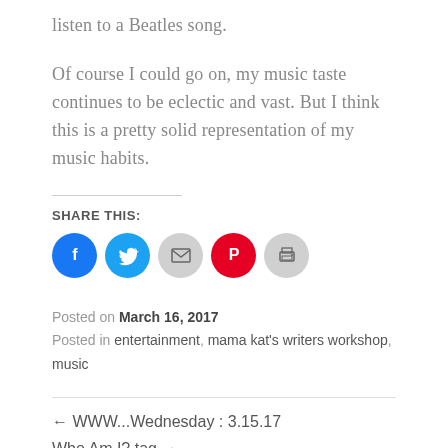listen to a Beatles song.
Of course I could go on, my music taste continues to be eclectic and vast. But I think this is a pretty solid representation of my music habits.
SHARE THIS:
[Figure (infographic): Social share buttons: Facebook (blue circle), Twitter (blue circle), Email (gray circle), Pinterest (red circle), Print (gray circle)]
Posted on March 16, 2017
Posted in entertainment, mama kat's writers workshop, music
← WWW...Wednesday : 3.15.17
Who Am I? tag →